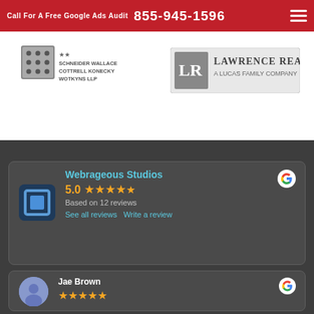Call For A Free Google Ads Audit  855-945-1596
[Figure (logo): Schneider Wallace Cottrell Konecky Wotkyns LLP law firm logo]
[Figure (logo): Lawrence Realty - A Lucas Family Company logo]
[Figure (other): Webrageous Studios Google review card showing 5.0 stars based on 12 reviews]
[Figure (other): Jae Brown Google review card with 5 star rating]